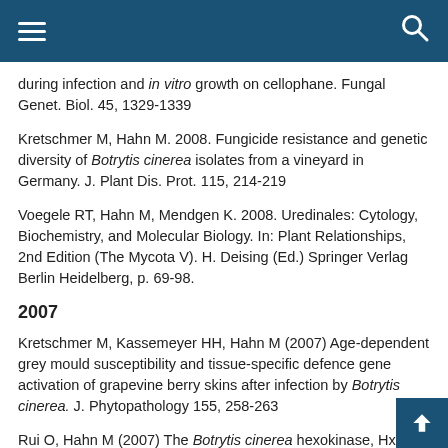during infection and in vitro growth on cellophane. Fungal Genet. Biol. 45, 1329-1339
Kretschmer M, Hahn M. 2008. Fungicide resistance and genetic diversity of Botrytis cinerea isolates from a vineyard in Germany. J. Plant Dis. Prot. 115, 214-219
Voegele RT, Hahn M, Mendgen K. 2008. Uredinales: Cytology, Biochemistry, and Molecular Biology. In: Plant Relationships, 2nd Edition (The Mycota V). H. Deising (Ed.) Springer Verlag Berlin Heidelberg, p. 69-98.
2007
Kretschmer M, Kassemeyer HH, Hahn M (2007) Age-dependent grey mould susceptibility and tissue-specific defence gene activation of grapevine berry skins after infection by Botrytis cinerea. J. Phytopathology 155, 258-263
Rui O, Hahn M (2007) The Botrytis cinerea hexokinase, Hxk1, but not the glucokinase, Glk1, is required for